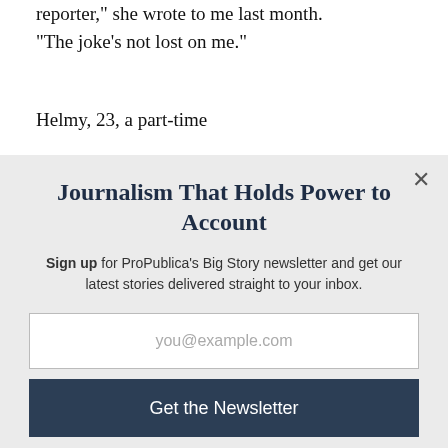reporter,” she wrote to me last month. “The joke’s not lost on me.”
Helmy, 23, a part-time
Journalism That Holds Power to Account
Sign up for ProPublica’s Big Story newsletter and get our latest stories delivered straight to your inbox.
you@example.com
Get the Newsletter
No thanks, I’m all set
This site is protected by reCAPTCHA and the Google Privacy Policy and Terms of Service apply.